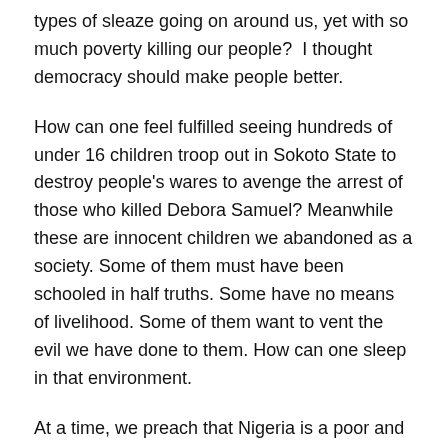types of sleaze going on around us, yet with so much poverty killing our people?  I thought democracy should make people better.
How can one feel fulfilled seeing hundreds of under 16 children troop out in Sokoto State to destroy people's wares to avenge the arrest of those who killed Debora Samuel? Meanwhile these are innocent children we abandoned as a society. Some of them must have been schooled in half truths. Some have no means of livelihood. Some of them want to vent the evil we have done to them. How can one sleep in that environment.
At a time, we preach that Nigeria is a poor and developing country  with the federal and state governments owing local and international contractors, one man, amid the people's misfortunes, is diverting N80bn for his family's generational